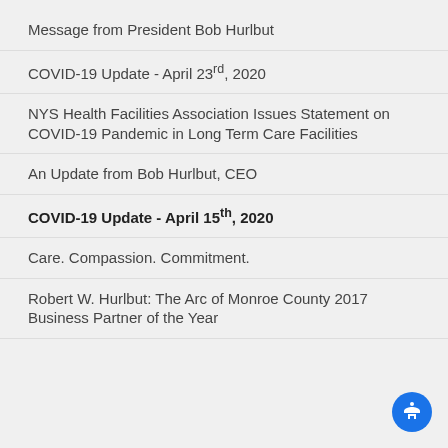Message from President Bob Hurlbut
COVID-19 Update - April 23rd, 2020
NYS Health Facilities Association Issues Statement on COVID-19 Pandemic in Long Term Care Facilities
An Update from Bob Hurlbut, CEO
COVID-19 Update - April 15th, 2020
Care. Compassion. Commitment.
Robert W. Hurlbut: The Arc of Monroe County 2017 Business Partner of the Year